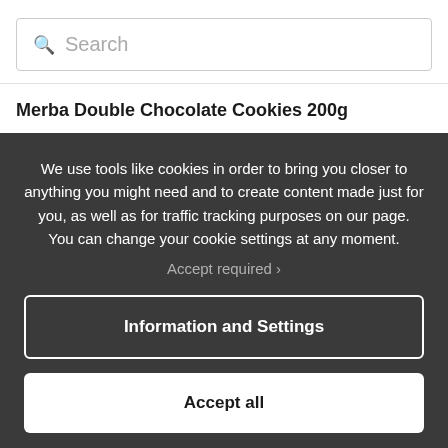[Figure (screenshot): Search bar with magnifying glass icon and placeholder text 'Search']
Merba Double Chocolate Cookies 200g
We use tools like cookies in order to bring you closer to anything you might need and to create content made just for you, as well as for traffic tracking purposes on our page. You can change your cookie settings at any moment.
Accept required ›
Information and Settings
Accept all